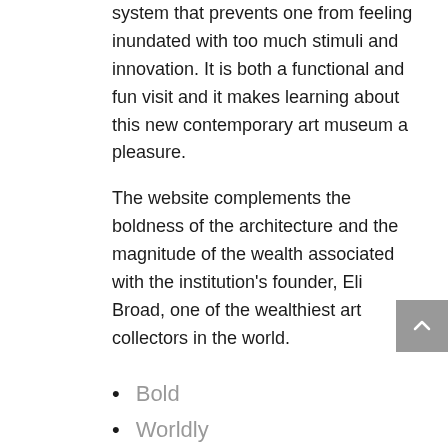system that prevents one from feeling inundated with too much stimuli and innovation. It is both a functional and fun visit and it makes learning about this new contemporary art museum a pleasure.
The website complements the boldness of the architecture and the magnitude of the wealth associated with the institution's founder, Eli Broad, one of the wealthiest art collectors in the world.
Bold
Worldly
Magnanimous
International
New
Edgy